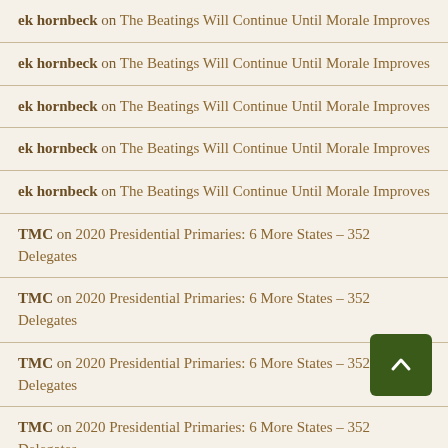ek hornbeck on The Beatings Will Continue Until Morale Improves
ek hornbeck on The Beatings Will Continue Until Morale Improves
ek hornbeck on The Beatings Will Continue Until Morale Improves
ek hornbeck on The Beatings Will Continue Until Morale Improves
ek hornbeck on The Beatings Will Continue Until Morale Improves
TMC on 2020 Presidential Primaries: 6 More States – 352 Delegates
TMC on 2020 Presidential Primaries: 6 More States – 352 Delegates
TMC on 2020 Presidential Primaries: 6 More States – 352 Delegates
TMC on 2020 Presidential Primaries: 6 More States – 352 Delegates
TMC on 2020 Presidential Primaries: 6 More States – 352